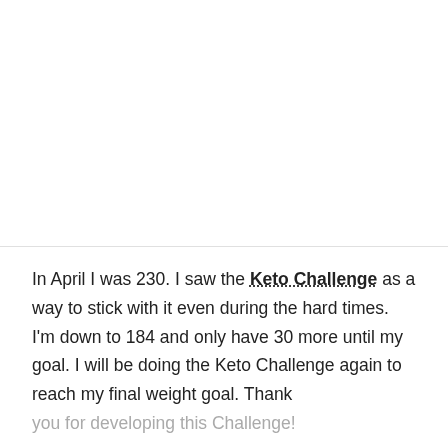In April I was 230. I saw the Keto Challenge as a way to stick with it even during the hard times. I'm down to 184 and only have 30 more until my goal. I will be doing the Keto Challenge again to reach my final weight goal. Thank you for developing this Challenge!